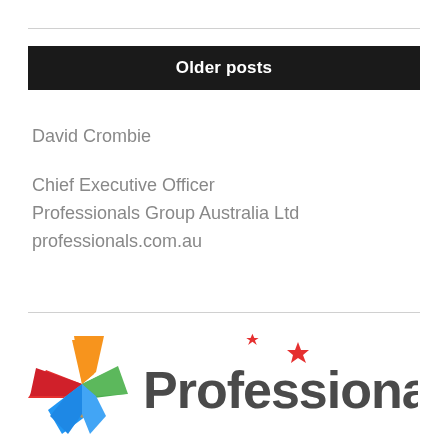Older posts
David Crombie
Chief Executive Officer
Professionals Group Australia Ltd
professionals.com.au
[Figure (logo): Professionals Group Australia Ltd logo — colourful star icon with red, orange, green and blue segments, beside the word 'Professionals' in dark grey bold text with a red star above the letter i]